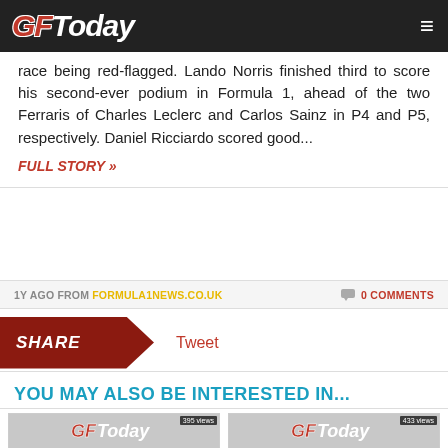GFToday
race being red-flagged. Lando Norris finished third to score his second-ever podium in Formula 1, ahead of the two Ferraris of Charles Leclerc and Carlos Sainz in P4 and P5, respectively. Daniel Ricciardo scored good...
FULL STORY »
1Y AGO FROM FORMULA1NEWS.CO.UK  0 COMMENTS
SHARE  Tweet
YOU MAY ALSO BE INTERESTED IN...
[Figure (screenshot): GFToday logo thumbnail with 395 views badge - Verstappen wins action-packed Emilia Romagna Grand Prix]
Verstappen wins action-packed Emilia Romagna Grand Prix
Red Bull's Max Verstappen has
[Figure (screenshot): GFToday logo thumbnail with 433 views badge - Verstappen hits back to pull clear of Hamilton in P3]
Verstappen hits back to pull clear of Hamilton in P3
Max Verstappen rebounded from Red Bull's lost time on Friday to set